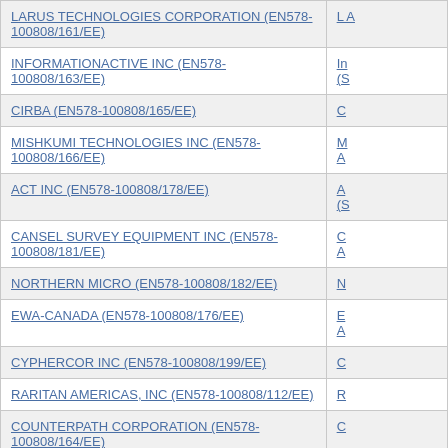| Company | Details |
| --- | --- |
| LARUS TECHNOLOGIES CORPORATION (EN578-100808/161/EE) | L A |
| INFORMATIONACTIVE INC (EN578-100808/163/EE) | In (S |
| CIRBA (EN578-100808/165/EE) | C |
| MISHKUMI TECHNOLOGIES INC (EN578-100808/166/EE) | M A |
| ACT INC (EN578-100808/178/EE) | A (S |
| CANSEL SURVEY EQUIPMENT INC (EN578-100808/181/EE) | C A |
| NORTHERN MICRO (EN578-100808/182/EE) | N |
| EWA-CANADA (EN578-100808/176/EE) | E A |
| CYPHERCOR INC (EN578-100808/199/EE) | C |
| RARITAN AMERICAS, INC (EN578-100808/112/EE) | R |
| COUNTERPATH CORPORATION (EN578-100808/164/EE) | C |